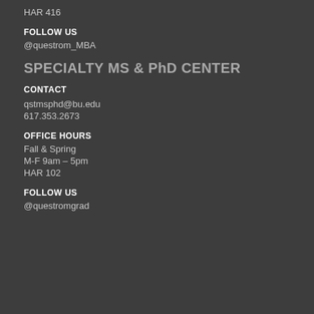HAR 416
FOLLOW US
@questrom_MBA
SPECIALTY MS & PhD CENTER
CONTACT
qstmsphd@bu.edu
617.353.2673
OFFICE HOURS
Fall & Spring
M-F 9am – 5pm
HAR 102
FOLLOW US
@questromgrad